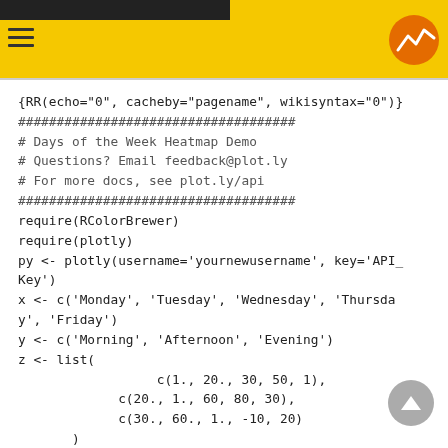Days of the Week Heatmap Demo — plotly R API
{RR(echo="0", cacheby="pagename", wikisyntax="0")}
####################################
# Days of the Week Heatmap Demo
# Questions? Email feedback@plot.ly
# For more docs, see plot.ly/api
####################################
require(RColorBrewer)
require(plotly)

py <- plotly(username='yournewusername', key='API_Key')


x <- c('Monday', 'Tuesday', 'Wednesday', 'Thursday', 'Friday')
y <- c('Morning', 'Afternoon', 'Evening')
z <- list(
                  c(1., 20., 30, 50, 1),
             c(20., 1., 60, 80, 30),
             c(30., 60., 1., -10, 20)
       )